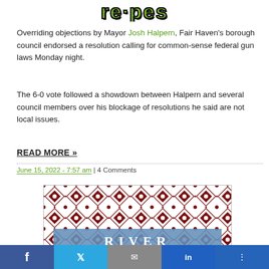[Figure (logo): Partially visible green graffiti-style logo text at top of page]
Overriding objections by Mayor Josh Halpern, Fair Haven's borough council endorsed a resolution calling for common-sense federal gun laws Monday night.
The 6-0 vote followed a showdown between Halpern and several council members over his blockage of resolutions he said are not local issues.
READ MORE »
June 15, 2022 - 7:57 am | 4 Comments
[Figure (advertisement): Advertisement with dark red ornate pattern background and 'RIVER' text in a blue-grey banner overlay]